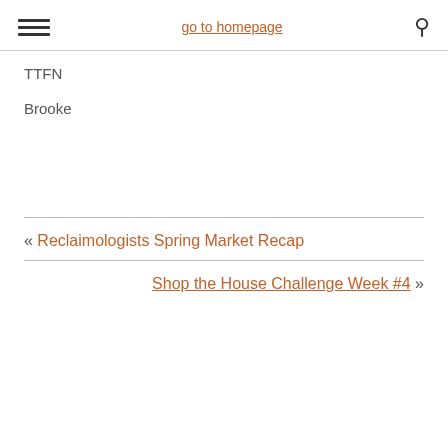go to homepage
TTFN
Brooke
« Reclaimologists Spring Market Recap
Shop the House Challenge Week #4 »